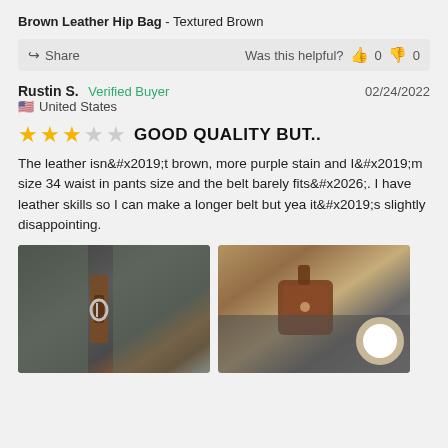Brown Leather Hip Bag - Textured Brown
Share  Was this helpful?  0  0
Rustin S.  Verified Buyer  02/24/2022
United States
GOOD QUALITY BUT..
The leather isn&amp;#x2019;t brown, more purple stain and I&amp;#x2019;m size 34 waist in pants size and the belt barely fits&amp;#x2026;. I have leather skills so I can make a longer belt but yea it&amp;#x2019;s slightly disappointing.
[Figure (photo): Photo of brown leather belt/bag attached to jeans - side view showing buckle]
[Figure (photo): Photo of brown leather hip bag worn on hip over dark pants]